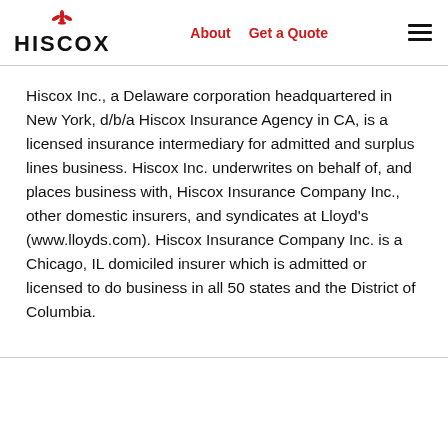HISCOX | About | Get a Quote
Hiscox Inc., a Delaware corporation headquartered in New York, d/b/a Hiscox Insurance Agency in CA, is a licensed insurance intermediary for admitted and surplus lines business. Hiscox Inc. underwrites on behalf of, and places business with, Hiscox Insurance Company Inc., other domestic insurers, and syndicates at Lloyd's (www.lloyds.com). Hiscox Insurance Company Inc. is a Chicago, IL domiciled insurer which is admitted or licensed to do business in all 50 states and the District of Columbia.